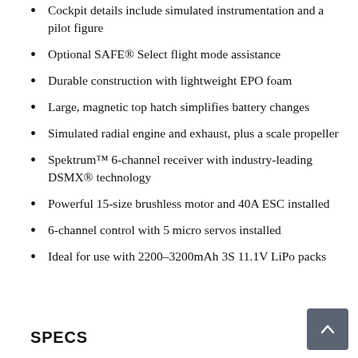Cockpit details include simulated instrumentation and a pilot figure
Optional SAFE® Select flight mode assistance
Durable construction with lightweight EPO foam
Large, magnetic top hatch simplifies battery changes
Simulated radial engine and exhaust, plus a scale propeller
Spektrum™ 6-channel receiver with industry-leading DSMX® technology
Powerful 15-size brushless motor and 40A ESC installed
6-channel control with 5 micro servos installed
Ideal for use with 2200–3200mAh 3S 11.1V LiPo packs
SPECS